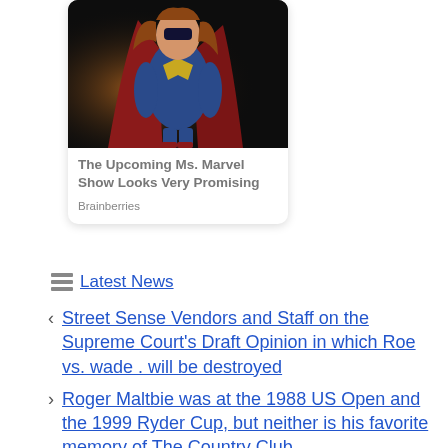[Figure (photo): A woman in a blue and red Ms. Marvel superhero costume with a cape and mask, posed heroically against a dark background.]
The Upcoming Ms. Marvel Show Looks Very Promising
Brainberries
Latest News
Street Sense Vendors and Staff on the Supreme Court's Draft Opinion in which Roe vs. wade . will be destroyed
Roger Maltbie was at the 1988 US Open and the 1999 Ryder Cup, but neither is his favorite memory of The Country Club